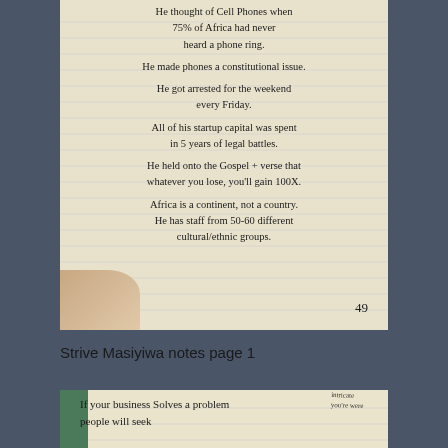[Figure (photo): Photo of a handwritten notebook page (page 49) with notes about Strive Masiyiwa: thoughts on cell phones in Africa, constitutional issue, arrested every Friday, startup capital spent on legal battles, Gospel verse about gaining 100X, Africa as a continent with 50-60 different cultural/ethnic groups.]
Strive Masiyiwa notes page 1
[Figure (photo): Partial photo of another handwritten notebook page beginning with 'If your business solves a problem people will seek...']